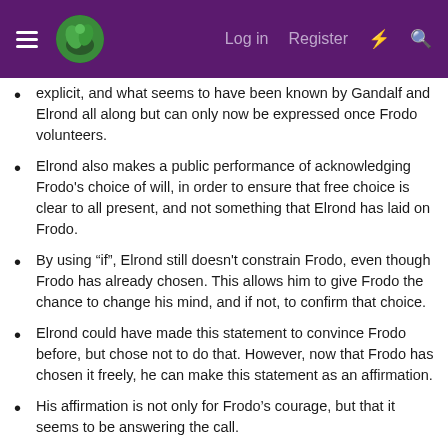Log in  Register
explicit, and what seems to have been known by Gandalf and Elrond all along but can only now be expressed once Frodo volunteers.
Elrond also makes a public performance of acknowledging Frodo's choice of will, in order to ensure that free choice is clear to all present, and not something that Elrond has laid on Frodo.
By using “if”, Elrond still doesn't constrain Frodo, even though Frodo has already chosen. This allows him to give Frodo the chance to change his mind, and if not, to confirm that choice.
Elrond could have made this statement to convince Frodo before, but chose not to do that. However, now that Frodo has chosen it freely, he can make this statement as an affirmation.
His affirmation is not only for Frodo’s courage, but that it seems to be answering the call.
Elrond is not guaranteeing success nor safety, but that he will be playing the part set for him.
This also confirms the Council’s choice to send the Ring…